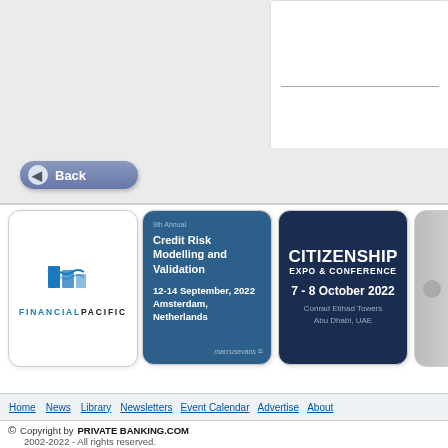[Figure (screenshot): Gray form area at top with white input box on right side containing a horizontal line]
[Figure (other): Back button with left-pointing arrow icon and text 'Back']
[Figure (logo): Financial Pacific logo: teal flag/wave icon above text FINANCIALPACIFIC in teal letters]
[Figure (illustration): 9th Annual Credit Risk Modelling and Validation conference ad. Dark blue background. Text: 12-14 September, 2022 Amsterdam, Netherlands. marcusevans branding.]
[Figure (illustration): CITIZENSHIP EXPO & CONFERENCE ad. Dark navy background. Text: 7 - 8 October 2022, Conrad Etihad Towers, Abu Dhabi, UAE]
[Figure (illustration): Partially visible fourth ad tile on right edge]
Home  News  Library  Newsletters  Event Calendar  Advertise  About
© Copyright by PRIVATE BANKING.COM 2002-2022 - All rights reserved.